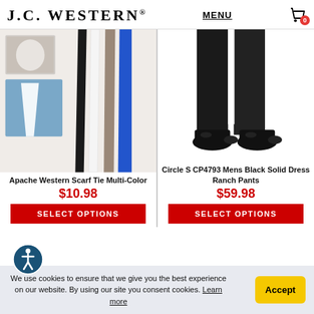J.C. WESTERN® | MENU | Cart: 0
[Figure (photo): Apache Western Scarf Tie Multi-Color — colorful scarves/ties hanging with a close-up of a western scarf tied around a shirt collar]
[Figure (photo): Circle S CP4793 Mens Black Solid Dress Ranch Pants — lower body view showing black dress pants and black cowboy boots]
Apache Western Scarf Tie Multi-Color
$10.98
SELECT OPTIONS
Circle S CP4793 Mens Black Solid Dress Ranch Pants
$59.98
SELECT OPTIONS
We use cookies to ensure that we give you the best experience on our website. By using our site you consent cookies. Learn more